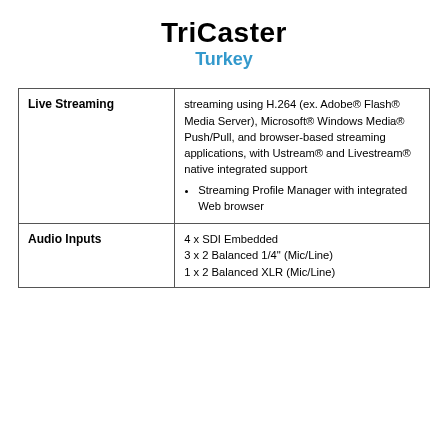TriCaster Turkey
| Feature | Details |
| --- | --- |
| Live Streaming | streaming using H.264 (ex. Adobe® Flash® Media Server), Microsoft® Windows Media® Push/Pull, and browser-based streaming applications, with Ustream® and Livestream® native integrated support • Streaming Profile Manager with integrated Web browser |
| Audio Inputs | 4 x SDI Embedded
3 x 2 Balanced 1/4" (Mic/Line)
1 x 2 Balanced XLR (Mic/Line) |